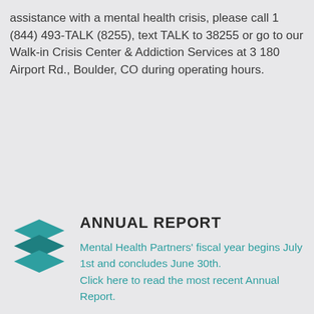assistance with a mental health crisis, please call 1 (844) 493-TALK (8255), text TALK to 38255 or go to our Walk-in Crisis Center & Addiction Services at 3180 Airport Rd., Boulder, CO during operating hours.
[Figure (logo): Teal stacked layers icon (three overlapping parallelogram-like shapes in teal/dark teal color)]
ANNUAL REPORT
Mental Health Partners' fiscal year begins July 1st and concludes June 30th. Click here to read the most recent Annual Report.